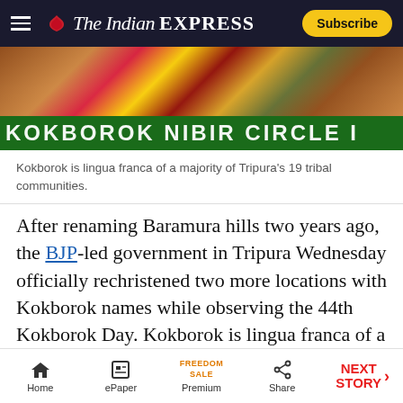The Indian Express — Subscribe
[Figure (photo): Photo of people in traditional attire at what appears to be a Kokborok Day event, with a green banner in the foreground showing large white text.]
Kokborok is lingua franca of a majority of Tripura’s 19 tribal communities.
After renaming Baramura hills two years ago, the BJP-led government in Tripura Wednesday officially rechristened two more locations with Kokborok names while observing the 44th Kokborok Day. Kokborok is lingua franca of a majority of Tripura’s 19 tribal communities.
Chief Minister Biplab Kumar Deb, who earlier
Home | ePaper | Premium | Share | NEXT STORY